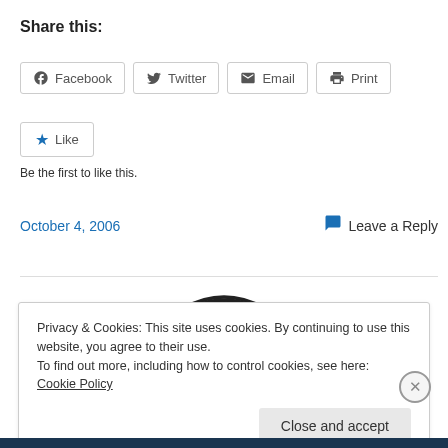Share this:
Facebook  Twitter  Email  Print
★ Like
Be the first to like this.
October 4, 2006   Leave a Reply
Privacy & Cookies: This site uses cookies. By continuing to use this website, you agree to their use.
To find out more, including how to control cookies, see here: Cookie Policy
Close and accept